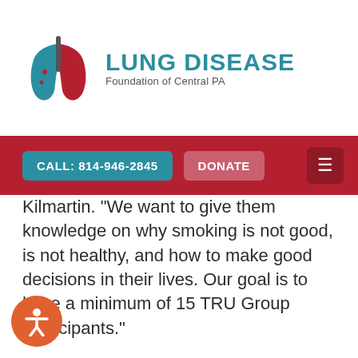[Figure (logo): Lung Disease Foundation of Central PA logo with lung icon in teal and red]
CALL: 814-946-2845  DONATE
Kilmartin. "We want to give them knowledge on why smoking is not good, is not healthy, and how to make good decisions in their lives. Our goal is to have a minimum of 15 TRU Group Participants."
Frank Kopriva, of Blair Regional YMCA, in Hollidaysburg, PA, is planning to start their 12 minimum TRU Group participants this fall to coincide with the beginning of the new school year. Kopriva shared, “We’ll be using the grant to produce recruitment material to encourage kids to participate in the new TRU Group which will be coordinated with our After School